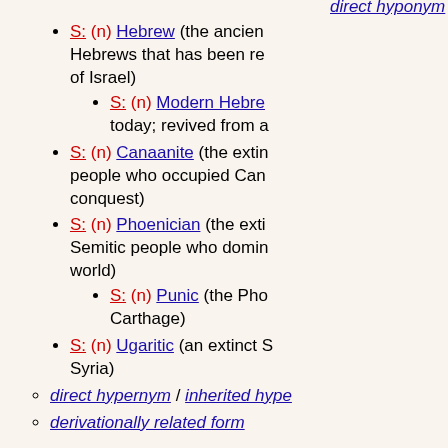S: (n) Hebrew (the ancient Hebrews that has been re... of Israel)
S: (n) Modern Hebre... today; revived from a...
S: (n) Canaanite (the exti... people who occupied Can... conquest)
S: (n) Phoenician (the exti... Semitic people who domin... world)
S: (n) Punic (the Pho... Carthage)
S: (n) Ugaritic (an extinct S... Syria)
direct hypernym / inherited hype...
derivationally related form
Adjective
S: (adj) Amharic (related to or characteristic of or writt... language”